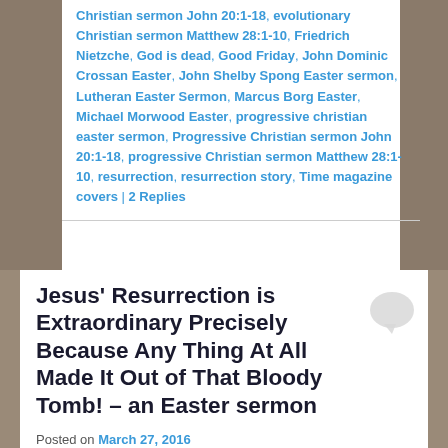Christian sermon John 20:1-18, evolutionary Christian sermon Matthew 28:1-10, Friedrich Nietzche, God is dead, Good Friday, John Dominic Crossan Easter, John Shelby Spong Easter sermon, Lutheran Easter Sermon, Marcus Borg Easter, Michael Morwood Easter, progressive christian easter sermon, Progressive Christian sermon John 20:1-18, progressive Christian sermon Matthew 28:1-10, resurrection, resurrection story, Time magazine covers | 2 Replies
Jesus' Resurrection is Extraordinary Precisely Because Any Thing At All Made It Out of That Bloody Tomb! – an Easter sermon
Posted on March 27, 2016